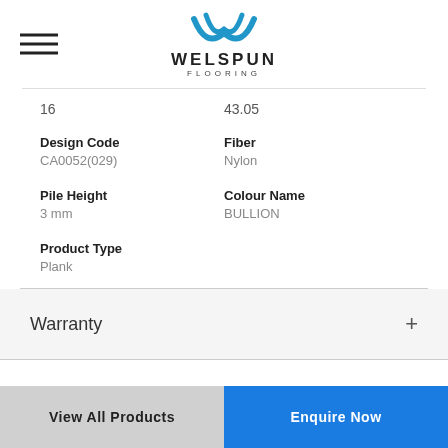[Figure (logo): Welspun Flooring logo with blue swoosh/checkmark icon above the text WELSPUN FLOORING]
16
43.05
Design Code
CA0052(029)
Fiber
Nylon
Pile Height
3 mm
Colour Name
BULLION
Product Type
Plank
Warranty
View All Products
Enquire Now